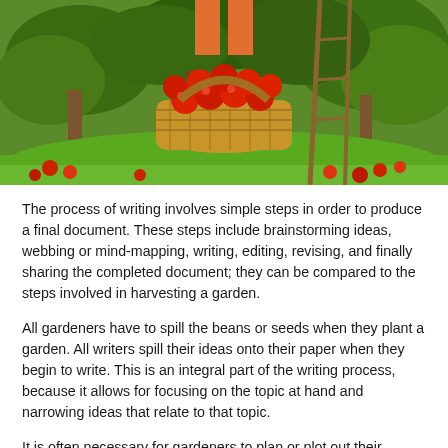[Figure (photo): A garden scene showing a large wicker basket overflowing with red apples on green grass, with apple trees, scattered apples on the ground, and a person's legs visible behind the basket.]
The process of writing involves simple steps in order to produce a final document. These steps include brainstorming ideas, webbing or mind-mapping, writing, editing, revising, and finally sharing the completed document; they can be compared to the steps involved in harvesting a garden.
All gardeners have to spill the beans or seeds when they plant a garden. All writers spill their ideas onto their paper when they begin to write. This is an integral part of the writing process, because it allows for focusing on the topic at hand and narrowing ideas that relate to that topic.
It is often necessary for gardeners to plan or plot out their garden. Writers, too, must plan their ideas. Otherwise, the reader gets lost while reading the writer's work. There are a variety of organizers out there; they help the writer conceptualize his thinking (thinking about one's own thinking is